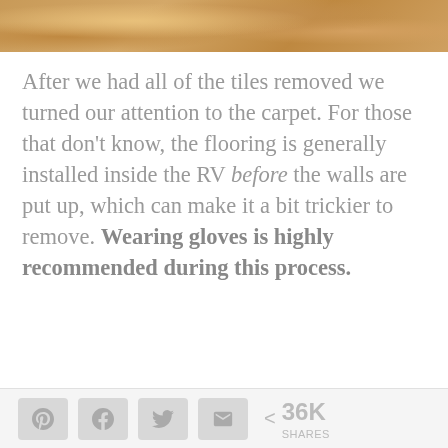[Figure (photo): Close-up photo of textured carpet or tile flooring in warm brown/tan tones, cropped at top of the page.]
After we had all of the tiles removed we turned our attention to the carpet. For those that don't know, the flooring is generally installed inside the RV before the walls are put up, which can make it a bit trickier to remove. Wearing gloves is highly recommended during this process.
< 36K SHARES — social share buttons (Pinterest, Facebook, Twitter, Email)